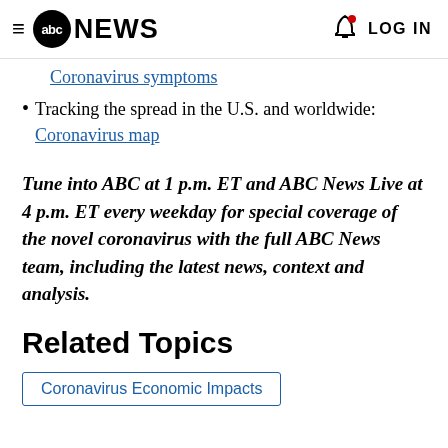abc NEWS  LOG IN
Coronavirus symptoms
Tracking the spread in the U.S. and worldwide: Coronavirus map
Tune into ABC at 1 p.m. ET and ABC News Live at 4 p.m. ET every weekday for special coverage of the novel coronavirus with the full ABC News team, including the latest news, context and analysis.
Related Topics
Coronavirus Economic Impacts